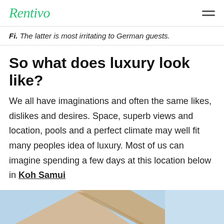Rentivo
Fi. The latter is most irritating to German guests.
So what does luxury look like?
We all have imaginations and often the same likes, dislikes and desires. Space, superb views and location, pools and a perfect climate may well fit many peoples idea of luxury. Most of us can imagine spending a few days at this location below in Koh Samui
[Figure (photo): Partial photo of a beach or outdoor luxury location, showing what appears to be a sunshade/parasol against a blue sky background.]